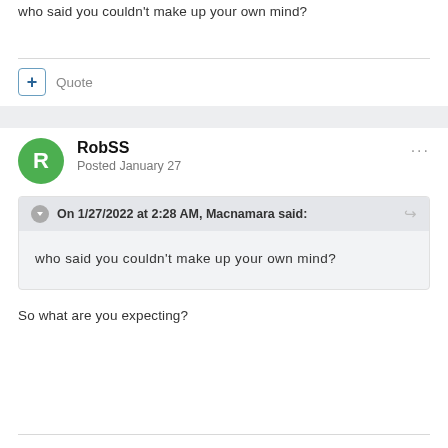who said you couldn't make up your own mind?
Quote
RobSS
Posted January 27
On 1/27/2022 at 2:28 AM, Macnamara said:
who said you couldn't make up your own mind?
So what are you expecting?